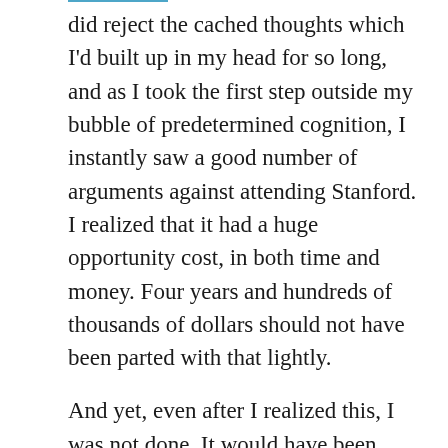did reject the cached thoughts which I'd built up in my head for so long, and as I took the first step outside my bubble of predetermined cognition, I instantly saw a good number of arguments against attending Stanford. I realized that it had a huge opportunity cost, in both time and money. Four years and hundreds of thousands of dollars should not have been parted with that lightly.
And yet, even after I realized this, I was not done. It would have been incredibly easy to reject the conclusion I'd made because I didn't want all that work to have been a waste. I was so close: I had a high SAT, I'd gotten good scores on 6 AP tests, including the only two